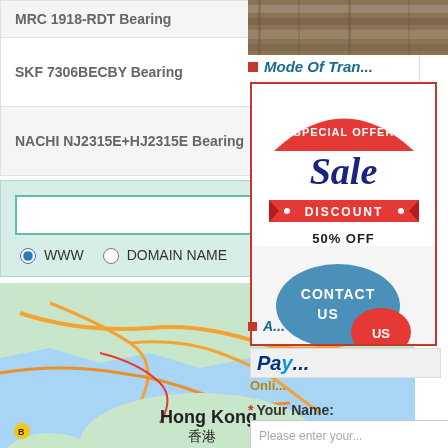MRC 1918-RDT Bearing
SKF 7306BECBY Bearing
NACHI NJ2315E+HJ2315E Bearing
[Figure (other): Search box with text input, Search button, and radio buttons for WWW and DOMAIN NAME options]
[Figure (map): Google Maps view of Hong Kong (香港) area showing Sai Ku, Country park, Hong Kong Island (香港島), and Lamma Island]
[Figure (photo): Partial photo of wooden planks or lumber stacked together]
Mode Of Tran...
[Figure (infographic): Advertisement overlay with red border. Top section: red arc banner with SPECIAL OFFER text, large Sale text in dark blue cursive, red ribbon with DISCOUNT 50% OFF. Bottom section: blue speech bubble with CONTACT US text in white, with red small bubble.]
Pa...
Onli...
* Your Name:
Please enter your...
* E-Mail Address: